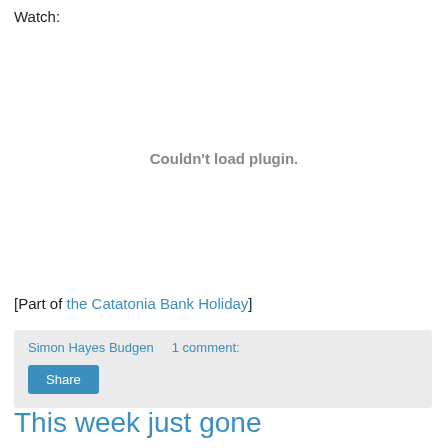Watch:
[Figure (other): Embedded video plugin area showing 'Couldn't load plugin.' error message]
[Part of the Catatonia Bank Holiday]
Simon Hayes Budgen    1 comment:
Share
This week just gone